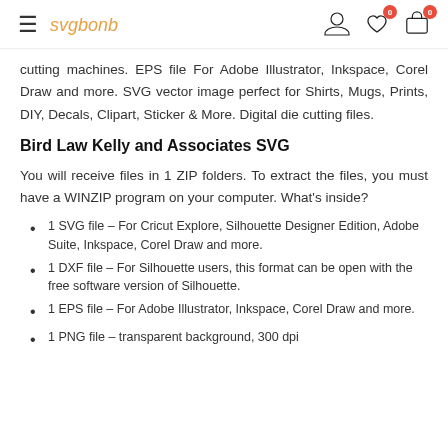svgbonb | navigation icons with cart 0 and wishlist 0
cutting machines. EPS file For Adobe Illustrator, Inkspace, Corel Draw and more. SVG vector image perfect for Shirts, Mugs, Prints, DIY, Decals, Clipart, Sticker & More. Digital die cutting files.
Bird Law Kelly and Associates SVG
You will receive files in 1 ZIP folders. To extract the files, you must have a WINZIP program on your computer. What's inside?
1 SVG file – For Cricut Explore, Silhouette Designer Edition, Adobe Suite, Inkspace, Corel Draw and more.
1 DXF file – For Silhouette users, this format can be open with the free software version of Silhouette.
1 EPS file – For Adobe Illustrator, Inkspace, Corel Draw and more.
1 PNG file – transparent background, 300 dpi